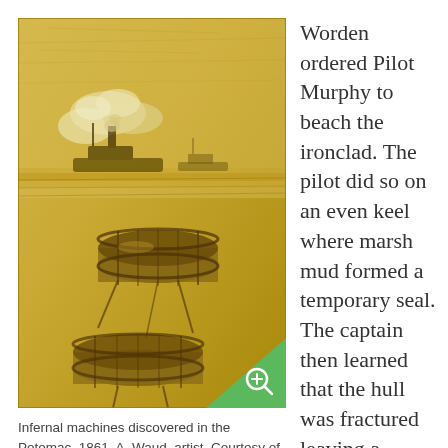[Figure (illustration): A golden-toned historical sketch showing infernal machines (barrel mines) floating in the Potomac River with ships in the background. The drawing has a sepia/golden yellow color scheme and shows wooden barrels attached with ropes, with a warship visible in the background amid smoke.]
Infernal machines discovered in the Potomac, 1861. A. Waud, artist. Courtesy of Library of Congress.
Worden ordered Pilot Murphy to beach the ironclad. The pilot did so on an even keel where marsh mud formed a temporary seal. The captain then learned that the hull was fractured leaving a fissure